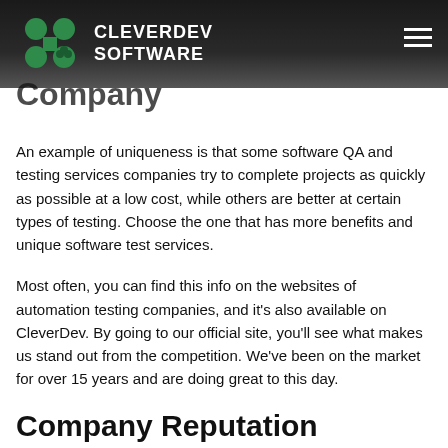CLEVERDEV SOFTWARE
Company
An example of uniqueness is that some software QA and testing services companies try to complete projects as quickly as possible at a low cost, while others are better at certain types of testing. Choose the one that has more benefits and unique software test services.
Most often, you can find this info on the websites of automation testing companies, and it's also available on CleverDev. By going to our official site, you'll see what makes us stand out from the competition. We've been on the market for over 15 years and are doing great to this day.
Company Reputation
This aspect is related to the first one; however, a large staff and the company's fame don't always guarantee quality. Take some time to read testimonials, reviews, and